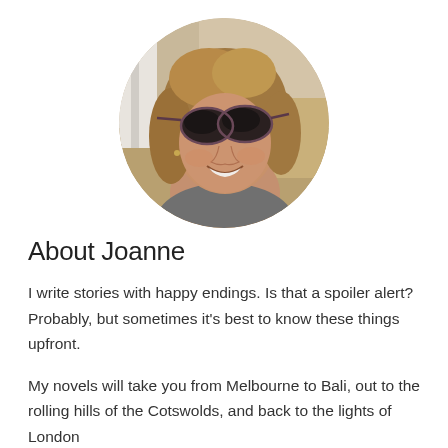[Figure (photo): Circular cropped portrait photo of a woman with curly blonde hair wearing dark sunglasses, smiling outdoors with dry landscape in background]
About Joanne
I write stories with happy endings. Is that a spoiler alert? Probably, but sometimes it's best to know these things upfront.
My novels will take you from Melbourne to Bali, out to the rolling hills of the Cotswolds, and back to the lights of London